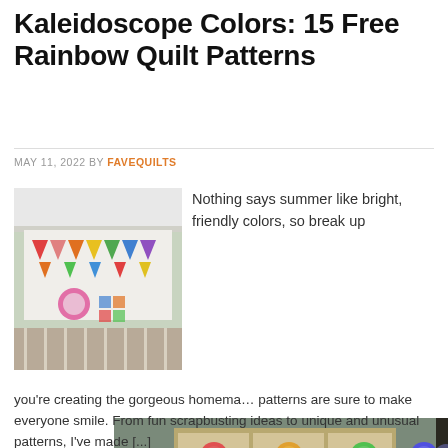Kaleidoscope Colors: 15 Free Rainbow Quilt Patterns
MAY 11, 2022 BY FAVEQUILTS
[Figure (photo): Photo of a colorful rainbow quilt with triangle pennant shapes hanging on a white crib rail]
Nothing says summer like bright, friendly colors, so break up
[Figure (screenshot): Video thumbnail showing a woman standing in a craft room with shelves of colorful yarn and supplies. Angel FleeceFun.com branding visible. Play button overlay.]
you're creating the gorgeous homema… patterns are sure to make everyone smile. From fun scrapbusting ideas to unique and unusual patterns, I've made [...]